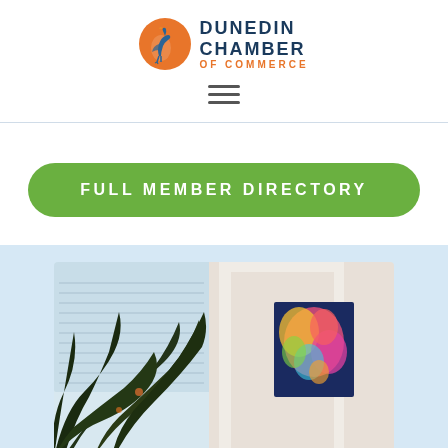[Figure (logo): Dunedin Chamber of Commerce logo with a blue heron on an orange circle, and text reading DUNEDIN CHAMBER OF COMMERCE]
[Figure (other): Hamburger menu icon with three horizontal lines]
FULL MEMBER DIRECTORY
[Figure (photo): Interior photo showing a tropical plant in the foreground and a colorful floral painting on the wall in the background, light blue background section]